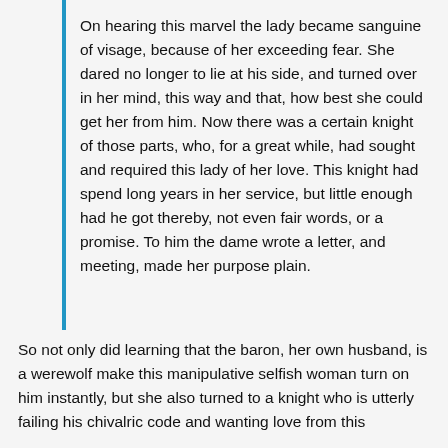On hearing this marvel the lady became sanguine of visage, because of her exceeding fear. She dared no longer to lie at his side, and turned over in her mind, this way and that, how best she could get her from him. Now there was a certain knight of those parts, who, for a great while, had sought and required this lady of her love. This knight had spend long years in her service, but little enough had he got thereby, not even fair words, or a promise. To him the dame wrote a letter, and meeting, made her purpose plain.
So not only did learning that the baron, her own husband, is a werewolf make this manipulative selfish woman turn on him instantly, but she also turned to a knight who is utterly failing his chivalric code and wanting love from this